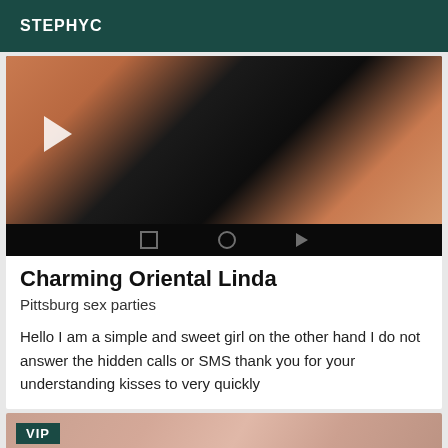STEPHYC
[Figure (photo): Video thumbnail showing a person in black fishnet/lace clothing with a white play arrow overlay and video player controls at the bottom]
Charming Oriental Linda
Pittsburg sex parties
Hello I am a simple and sweet girl on the other hand I do not answer the hidden calls or SMS thank you for your understanding kisses to very quickly
[Figure (photo): Close-up skin photo with a VIP badge overlay in the top left corner]